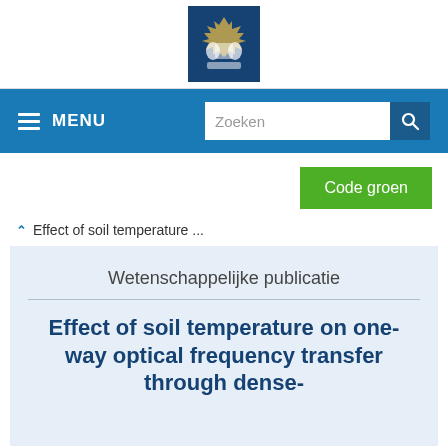[Figure (logo): Dutch government coat of arms logo on dark blue background]
MENU  Zoeken
Code groen
Effect of soil temperature ...
Wetenschappelijke publicatie
Effect of soil temperature on one-way optical frequency transfer through dense-